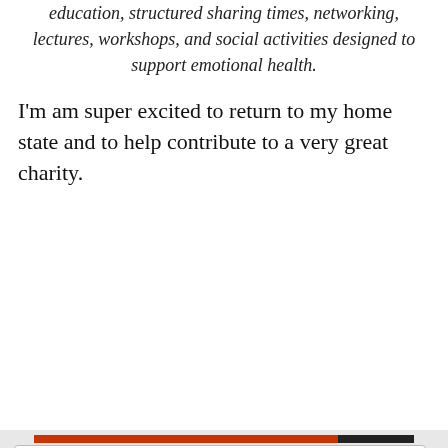education, structured sharing times, networking, lectures, workshops, and social activities designed to support emotional health.
I'm am super excited to return to my home state and to help contribute to a very great charity.
Privacy & Cookies: This site uses cookies. By continuing to use this website, you agree to their use. To find out more, including how to control cookies, see here: Cookie Policy
Close and accept